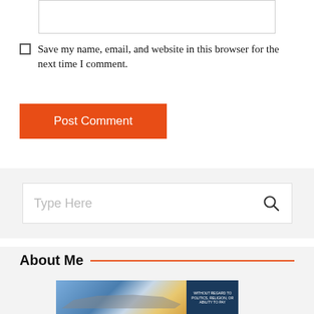[text input field]
Save my name, email, and website in this browser for the next time I comment.
Post Comment
Type Here
About Me
[Figure (photo): Photo of cargo airplane being loaded, with a dark sidebar showing text 'WITHOUT REGARD TO POLITICS, RELIGION, OR ABILITY TO PAY']